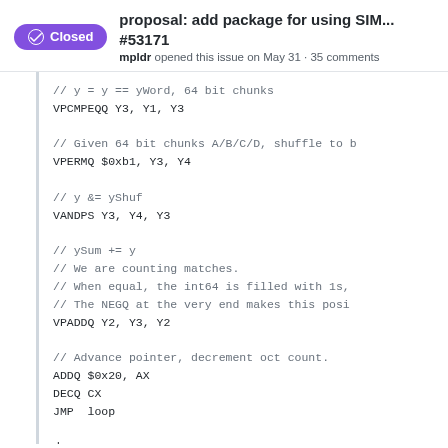proposal: add package for using SIM... #53171 — mpldr opened this issue on May 31 · 35 comments
[Figure (screenshot): GitHub issue code block showing assembly code with comments: VPCMPEQQ Y3 Y1 Y3; VPERMQ $0xb1 Y3 Y4; VANDPS Y3 Y4 Y3; VPADDQ Y2 Y3 Y2; ADDQ $0x20 AX; DECQ CX; JMP loop; done: // Sum accumulated outputs.]